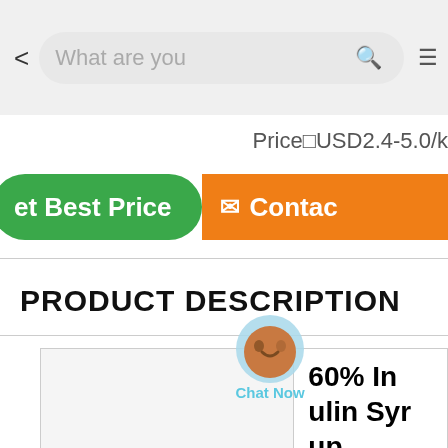< What are you [search icon] ≡
Price□USD2.4-5.0/k
[Figure (screenshot): Green button labeled 'et Best Price', orange button labeled 'Contac', and a 'Chat Now' circular overlay icon between them]
PRODUCT DESCRIPTION
|  | 60% In ulin Syr up |